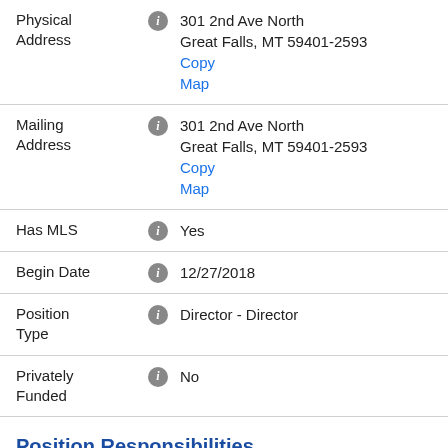Physical Address: 301 2nd Ave North, Great Falls, MT 59401-2593
Mailing Address: 301 2nd Ave North, Great Falls, MT 59401-2593
Has MLS: Yes
Begin Date: 12/27/2018
Position Type: Director - Director
Privately Funded: No
Position Responsibilities
ANAT21 Annual Organization Staff Admin...